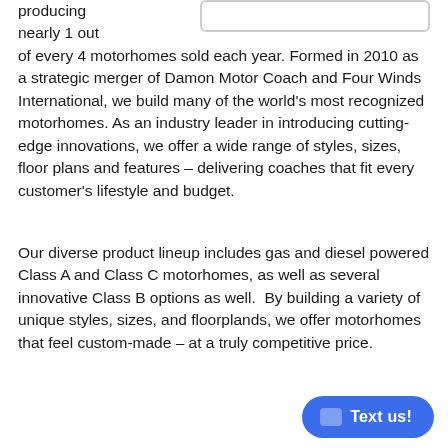producing nearly 1 out of every 4 motorhomes sold each year. Formed in 2010 as a strategic merger of Damon Motor Coach and Four Winds International, we build many of the world's most recognized motorhomes. As an industry leader in introducing cutting-edge innovations, we offer a wide range of styles, sizes, floor plans and features – delivering coaches that fit every customer's lifestyle and budget.
Our diverse product lineup includes gas and diesel powered Class A and Class C motorhomes, as well as several innovative Class B options as well.  By building a variety of unique styles, sizes, and floorplands, we offer motorhomes that feel custom-made – at a truly competitive price.